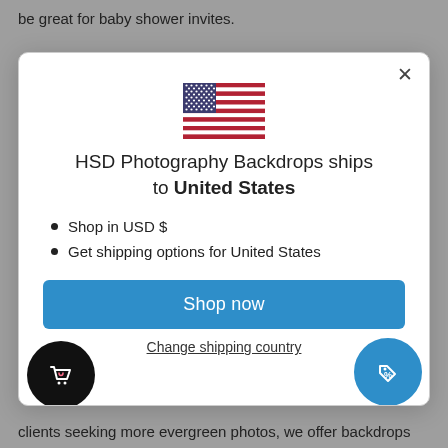be great for baby shower invites.
[Figure (illustration): Modal dialog showing US flag and shipping information for HSD Photography Backdrops]
HSD Photography Backdrops ships to United States
Shop in USD $
Get shipping options for United States
Shop now
Change shipping country
clients seeking more evergreen photos, we offer backdrops